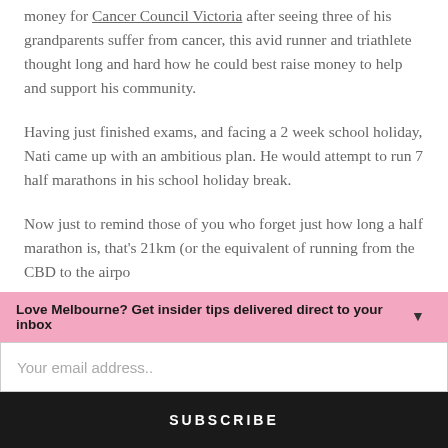money for Cancer Council Victoria after seeing three of his grandparents suffer from cancer, this avid runner and triathlete thought long and hard how he could best raise money to help and support his community.
Having just finished exams, and facing a 2 week school holiday, Nati came up with an ambitious plan. He would attempt to run 7 half marathons in his school holiday break.
Now just to remind those of you who forget just how long a half marathon is, that's 21km (or the equivalent of running from the CBD to the airpo...
Love Melbourne? Get insider tips delivered direct to your inbox
Your email address..
SUBSCRIBE